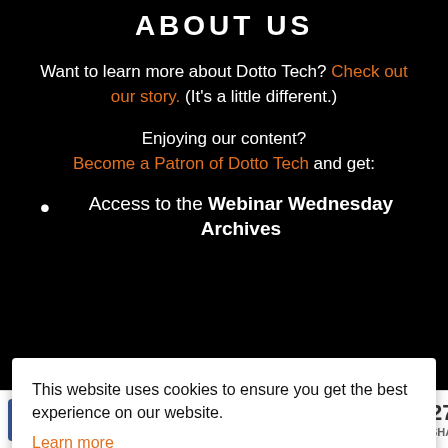ABOUT US
Want to learn more about Dotto Tech? Check out our story. (It's a little different.)
Enjoying our content? Become a Patron of Dotto Tech and get:
Access to the Webinar Wednesday Archives
This website uses cookies to ensure you get the best experience on our website.
Learn more
Got It!
18  9  27 SHARES